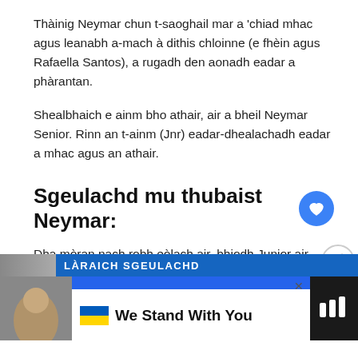Thàinig Neymar chun t-saoghail mar a 'chiad mhac agus leanabh a-mach à dithis chloinne (e fhèin agus Rafaella Santos), a rugadh den aonadh eadar a phàrantan.
Shealbhaich e ainm bho athair, air a bheil Neymar Senior. Rinn an t-ainm (Jnr) eadar-dhealachadh eadar a mhac agus an athair.
Sgeulachd mu thubaist Neymar:
Dha mòran nach robh eòlach air, bhiodh Junior air bàsach aig faisg air bliadhna a dh'aois. Leis an fhìrinn innse, cha bhiodh fios aig saoghal ball-coise gu robh e ann uaireigin. A-nis seo an sgeulachd gu lèir.
LÀRAICH SGEULACHD
We Stand With You